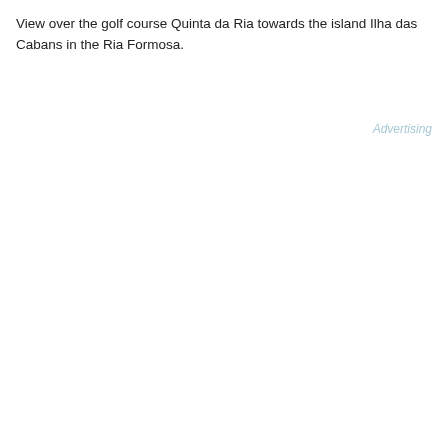View over the golf course Quinta da Ria towards the island Ilha das Cabans in the Ria Formosa.
Advertising